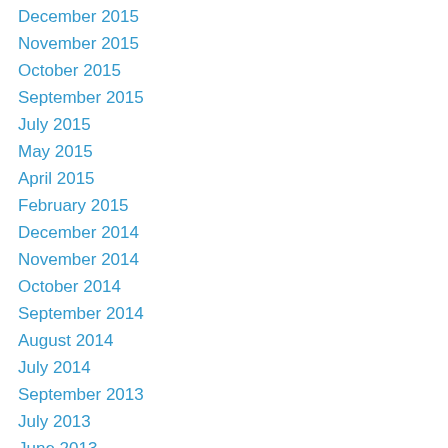December 2015
November 2015
October 2015
September 2015
July 2015
May 2015
April 2015
February 2015
December 2014
November 2014
October 2014
September 2014
August 2014
July 2014
September 2013
July 2013
June 2013
May 2013
April 2013
March 2013